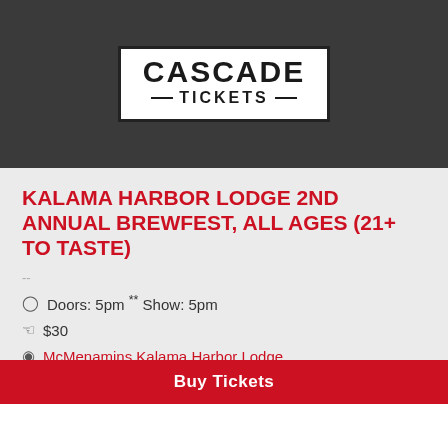[Figure (logo): Cascade Tickets logo — white box with black border showing 'CASCADE' in large bold black text and '—TICKETS—' below with decorative dashes, on a dark gray background]
KALAMA HARBOR LODGE 2ND ANNUAL BREWFEST, ALL AGES (21+ TO TASTE)
Doors: 5pm ** Show: 5pm
$30
McMenamins Kalama Harbor Lodge
Buy Tickets